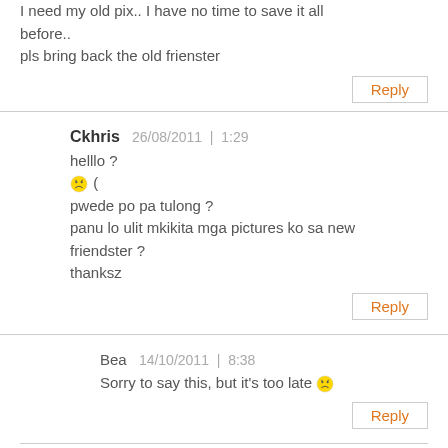I need my old pix.. I have no time to save it all before.. pls bring back the old frienster
Reply
Ckhris  26/08/2011 | 1:29
helllo ?
😟 (
pwede po pa tulong ?
panu lo ulit mkikita mga pictures ko sa new friendster ?
thanksz
Reply
Bea  14/10/2011 | 8:38
Sorry to say this, but it's too late 😟
Reply